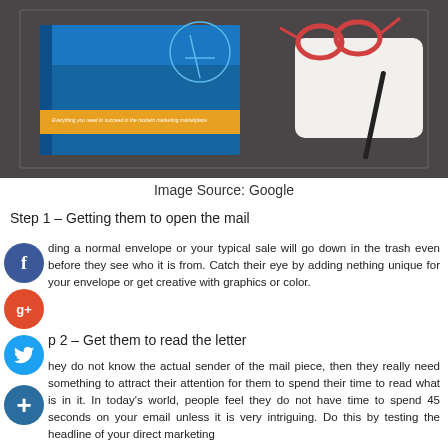[Figure (photo): Photo of a blue marketing book with orange stripe and text on a dark desk, alongside a white notebook, red-framed glasses, and a pen.]
Image Source: Google
Step 1 – Getting them to open the mail
ding a normal envelope or your typical sale will go down in the trash even before they see who it is from. Catch their eye by adding nething unique for your envelope or get creative with graphics or color.
p 2 – Get them to read the letter
hey do not know the actual sender of the mail piece, then they really need something to attract their attention for them to spend their time to read what is in it. In today's world, people feel they do not have time to spend 45 seconds on your email unless it is very intriguing. Do this by testing the headline of your direct marketing